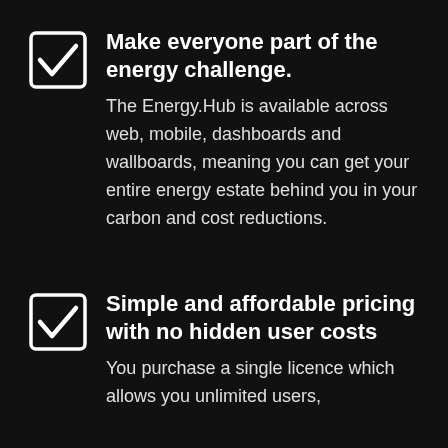Make everyone part of the energy challenge. The Energy.Hub is available across web, mobile, dashboards and wallboards, meaning you can get your entire energy estate behind you in your carbon and cost reductions.
Simple and affordable pricing with no hidden user costs. You purchase a single licence which allows you unlimited users,